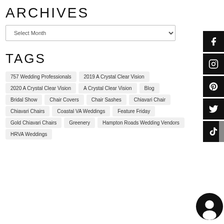ARCHIVES
[Figure (screenshot): Select Month dropdown box]
TAGS
757 Wedding Professionals
2019 A Crystal Clear Vision
2020 A Crystal Clear Vision
A Crystal Clear Vision
Blog
Bridal Show
Chair Covers
Chair Sashes
Chiavari Chair
Chiavari Chairs
Coastal VA Weddings
Feature Friday
Gold Chiavari Chairs
Greenery
Hampton Roads Wedding Vendors
HRVA Weddings